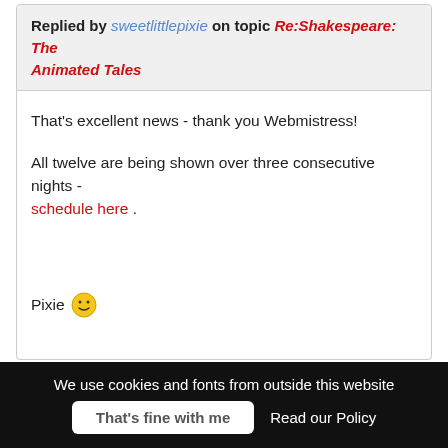Replied by sweetlittlepixie on topic Re:Shakespeare: The Animated Tales
That's excellent news - thank you Webmistress!

All twelve are being shown over three consecutive nights - schedule here .

Pixie :)
We use cookies and fonts from outside this website   That's fine with me   Read our Policy